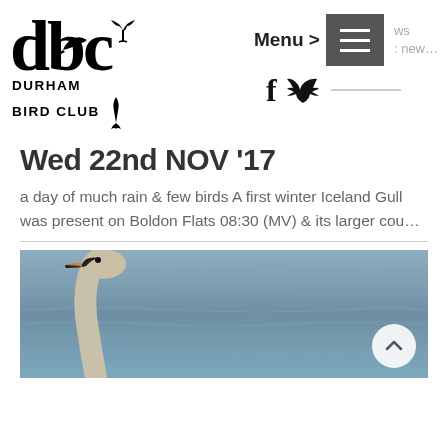[Figure (logo): Durham Bird Club logo — stylized 'dbc' text in large serif font with a bird silhouette, and 'DURHAM BIRD CLUB' in bold caps beneath]
Menu >
Wed 22nd NOV '17
a day of much rain & few birds A first winter Iceland Gull was present on Boldon Flats 08:30 (MV) & its larger cou...
[Figure (photo): A swan (appears to be a Bewick's or Whooper Swan) photographed on water, showing head and neck with orange-yellow beak markings, grey-blue water background]